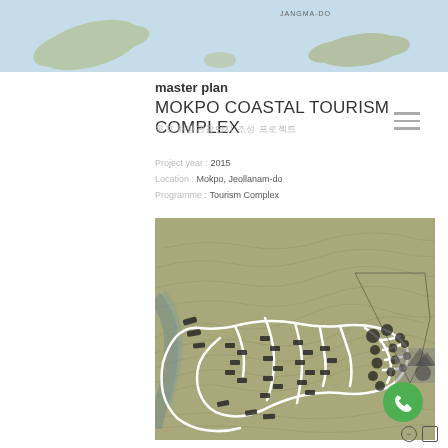[Figure (map): Top banner showing coastal map with islands including JANGMA-DO label, light blue water background with island shapes]
master plan
MOKPO COASTAL TOURISM COMPLEX
목포 해양관광단지 조성 프로젝트
Project year : 2015
Location : Mokpo, Jeollanam-do
Programme : Tourism Complex
[Figure (map): Site master plan showing topographic contour map with roads, building footprints, tree circles, and pathway network in olive/green tones with white paths and dark building masses]